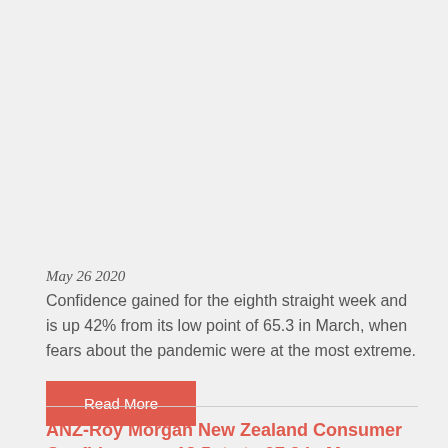May 26 2020
Confidence gained for the eighth straight week and is up 42% from its low point of 65.3 in March, when fears about the pandemic were at the most extreme.
Read More
ANZ-Roy Morgan New Zealand Consumer Confidence up 12.5pts to 97.3 in May